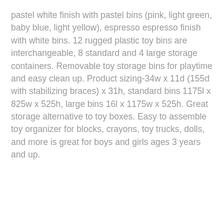pastel white finish with pastel bins (pink, light green, baby blue, light yellow), espresso espresso finish with white bins. 12 rugged plastic toy bins are interchangeable, 8 standard and 4 large storage containers. Removable toy storage bins for playtime and easy clean up. Product sizing-34w x 11d (155d with stabilizing braces) x 31h, standard bins 1175l x 825w x 525h, large bins 16l x 1175w x 525h. Great storage alternative to toy boxes. Easy to assemble toy organizer for blocks, crayons, toy trucks, dolls, and more is great for boys and girls ages 3 years and up.